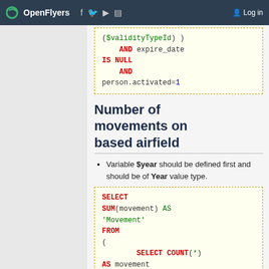OpenFlyers | Log in
($validityTypeId)
    AND expire_date
IS NULL
    AND
person.activated=1
Number of movements on based airfield
Variable $year should be defined first and should be of Year value type.
SELECT
SUM(movement) AS
'Movement'
FROM
(
    SELECT COUNT(*)
AS movement